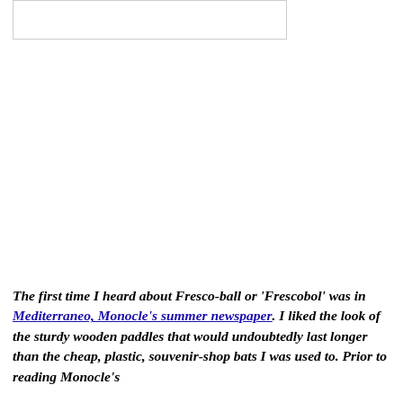[Figure (other): A white rectangular box with a light border, likely a placeholder or image area at the top of the page.]
The first time I heard about Fresco-ball or 'Frescobol' was in Mediterraneo, Monocle's summer newspaper. I liked the look of the sturdy wooden paddles that would undoubtedly last longer than the cheap, plastic, souvenir-shop bats I was used to. Prior to reading Monocle's